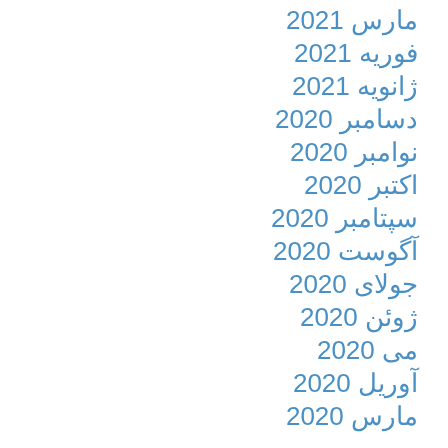مارس 2021
فوریه 2021
ژانویه 2021
دسامبر 2020
نوامبر 2020
اکتبر 2020
سپتامبر 2020
آگوست 2020
جولای 2020
ژوئن 2020
می 2020
آوریل 2020
مارس 2020